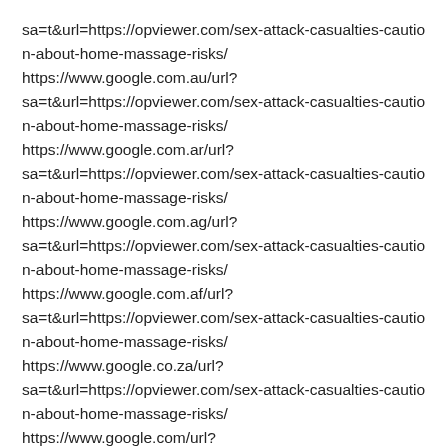sa=t&url=https://opviewer.com/sex-attack-casualties-caution-about-home-massage-risks/ https://www.google.com.au/url? sa=t&url=https://opviewer.com/sex-attack-casualties-caution-about-home-massage-risks/ https://www.google.com.ar/url? sa=t&url=https://opviewer.com/sex-attack-casualties-caution-about-home-massage-risks/ https://www.google.com.ag/url? sa=t&url=https://opviewer.com/sex-attack-casualties-caution-about-home-massage-risks/ https://www.google.com.af/url? sa=t&url=https://opviewer.com/sex-attack-casualties-caution-about-home-massage-risks/ https://www.google.co.za/url? sa=t&url=https://opviewer.com/sex-attack-casualties-caution-about-home-massage-risks/ https://www.google.com/url?